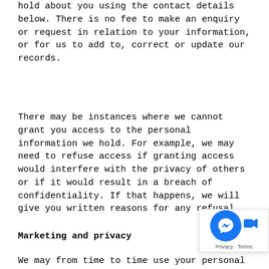hold about you using the contact details below. There is no fee to make an enquiry or request in relation to your information, or for us to add to, correct or update our records.
There may be instances where we cannot grant you access to the personal information we hold. For example, we may need to refuse access if granting access would interfere with the privacy of others or if it would result in a breach of confidentiality. If that happens, we will give you written reasons for any refusal.
Marketing and privacy
We may from time to time use your personal